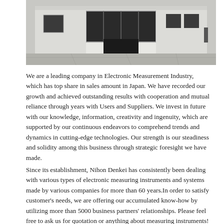[Figure (photo): Exterior photograph of a building, showing the front facade with large windows and a wide entrance, viewed from street level with a concrete pavement in the foreground.]
We are a leading company in Electronic Measurement Industry, which has top share in sales amount in Japan. We have recorded our growth and achieved outstanding results with cooperation and mutual reliance through years with Users and Suppliers. We invest in future with our knowledge, information, creativity and ingenuity, which are supported by our continuous endeavors to comprehend trends and dynamics in cutting-edge technologies. Our strength is our steadiness and solidity among this business through strategic foresight we have made.
Since its establishment, Nihon Denkei has consistently been dealing with various types of electronic measuring instruments and systems made by various companies for more than 60 years.In order to satisfy customer's needs, we are offering our accumulated know-how by utilizing more than 5000 business partners' relationships. Please feel free to ask us for quotation or anything about measuring instruments!